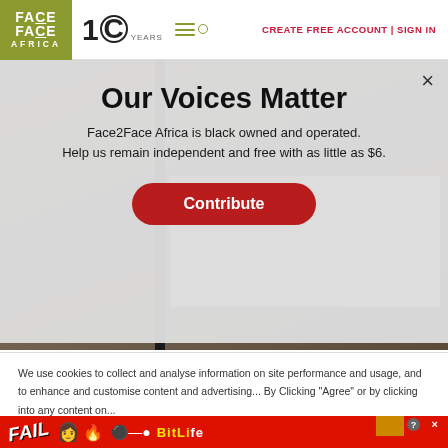Face2Face Africa – 10 YEARS | CREATE FREE ACCOUNT | SIGN IN
Our Voices Matter
Face2Face Africa is black owned and operated. Help us remain independent and free with as little as $6.
Contribute
[Figure (photo): Partially visible background image of a person walking on a road, partially obscured by the modal overlay]
We use cookies to collect and analyse information on site performance and usage, and to enhance and customise content and advertising...
[Figure (infographic): BitLife advertisement banner: FAIL text, emoji graphics, flame, and BitLife START A NEW LIFE text on red/orange background]